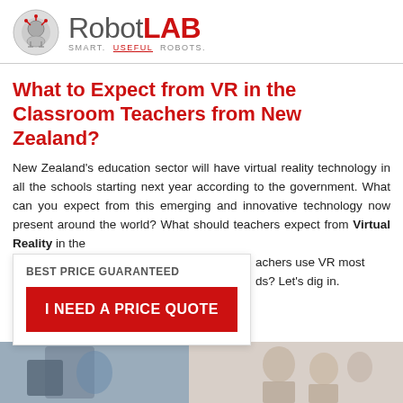RobotLAB — SMART. USEFUL. ROBOTS.
What to Expect from VR in the Classroom Teachers from New Zealand?
New Zealand's education sector will have virtual reality technology in all the schools starting next year according to the government. What can you expect from this emerging and innovative technology now present around the world? What should teachers expect from Virtual Reality in the teachers use VR most ds? Let's dig in.
BEST PRICE GUARANTEED
I NEED A PRICE QUOTE
[Figure (photo): Bottom portion showing robots/VR equipment on left and people (teachers/students) on right]
[Figure (logo): RobotLAB logo with circuit-board brain graphic and tagline SMART. USEFUL. ROBOTS.]